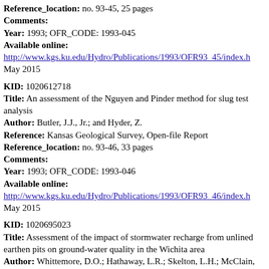Reference_location: no. 93-45, 25 pages
Comments:
Year: 1993; OFR_CODE: 1993-045
Available online:
http://www.kgs.ku.edu/Hydro/Publications/1993/OFR93_45/index.h... May 2015
KID: 1020612718
Title: An assessment of the Nguyen and Pinder method for slug test analysis
Author: Butler, J.J., Jr.; and Hyder, Z.
Reference: Kansas Geological Survey, Open-file Report
Reference_location: no. 93-46, 33 pages
Comments:
Year: 1993; OFR_CODE: 1993-046
Available online:
http://www.kgs.ku.edu/Hydro/Publications/1993/OFR93_46/index.h... May 2015
KID: 1020695023
Title: Assessment of the impact of stormwater recharge from unlined earthen pits on ground-water quality in the Wichita area
Author: Whittemore, D.O.; Hathaway, L.R.; Skelton, L.H.; McClain, T.J.; Dealy, M.T.; Fisher, B.G.; and Buddemeier, R.W.
Reference: Kansas Geological Survey, Open-file Report
Reference_location: no. 93-47, 98...